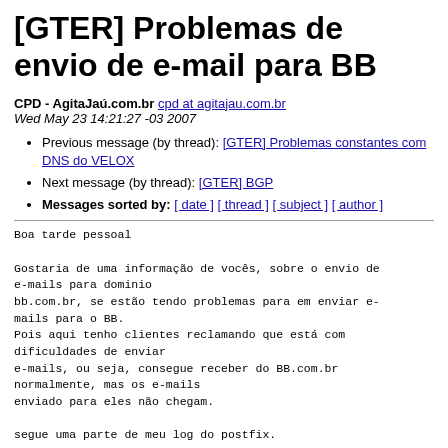[GTER] Problemas de envio de e-mail para BB
CPD - AgitaJaú.com.br cpd at agitajau.com.br
Wed May 23 14:21:27 -03 2007
Previous message (by thread): [GTER] Problemas constantes com DNS do VELOX
Next message (by thread): [GTER] BGP
Messages sorted by: [ date ] [ thread ] [ subject ] [ author ]
Boa tarde pessoal

Gostaria de uma informação de vocês, sobre o envio de
e-mails para dominio
bb.com.br, se estão tendo problemas para em enviar e-
mails para o BB.
Pois aqui tenho clientes reclamando que está com
dificuldades de enviar
e-mails, ou seja, consegue receber do BB.com.br
normalmente, mas os e-mails
enviado para eles não chegam.

segue uma parte de meu log do postfix.